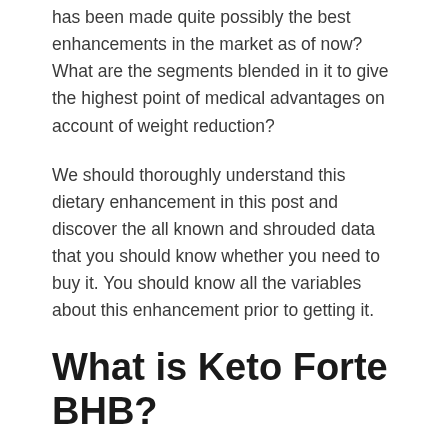has been made quite possibly the best enhancements in the market as of now? What are the segments blended in it to give the highest point of medical advantages on account of weight reduction?
We should thoroughly understand this dietary enhancement in this post and discover the all known and shrouded data that you should know whether you need to buy it. You should know all the variables about this enhancement prior to getting it.
What is Keto Forte BHB?
Keto Forte BHB is a ketogenic dietary enhancement that assists with acquiring ketosis body and instigate ketosis. The enhancement has been made with a mix of elevated levels and amazing parts that are very much verified for